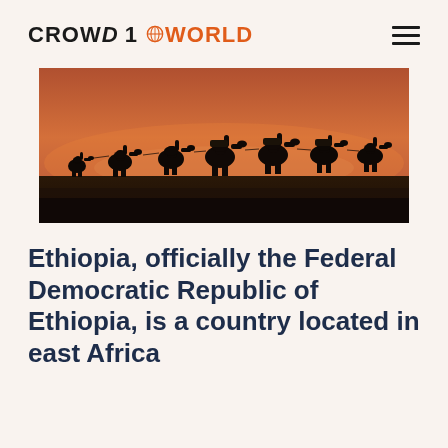CROWD 1 WORLD
[Figure (photo): Silhouette of a camel caravan walking across a desert landscape against a dramatic reddish-orange sunset sky]
Ethiopia, officially the Federal Democratic Republic of Ethiopia, is a country located in east Africa